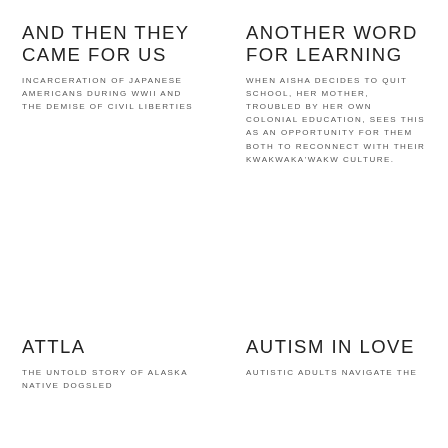AND THEN THEY CAME FOR US
INCARCERATION OF JAPANESE AMERICANS DURING WWII AND THE DEMISE OF CIVIL LIBERTIES
ANOTHER WORD FOR LEARNING
WHEN AISHA DECIDES TO QUIT SCHOOL, HER MOTHER, TROUBLED BY HER OWN COLONIAL EDUCATION, SEES THIS AS AN OPPORTUNITY FOR THEM BOTH TO RECONNECT WITH THEIR KWAKWAKA'WAKW CULTURE.
ATTLA
THE UNTOLD STORY OF ALASKA NATIVE DOGSLED
AUTISM IN LOVE
AUTISTIC ADULTS NAVIGATE THE